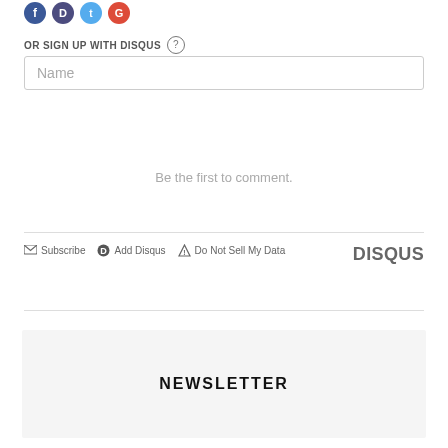[Figure (other): Social sign-in buttons: Facebook (blue), Google (dark blue/purple), Twitter (light blue), YouTube/Google+ (red) circular icons]
OR SIGN UP WITH DISQUS (?)
Name
Be the first to comment.
Subscribe   Add Disqus   Do Not Sell My Data   DISQUS
NEWSLETTER